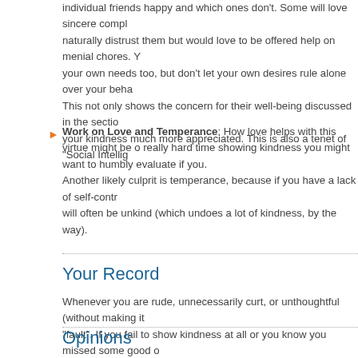individual friends happy and which ones don't. Some will love sincere compliments, others naturally distrust them but would love to be offered help on menial chores. You must balance your own needs too, but don't let your own desires rule alone over your behavior toward others. This not only shows the concern for their well-being discussed in the section on empathy, it makes your kindness much more appreciated. This is also a tenet of "Social Intelligence".
Work on Love and Temperance: How love helps with this virtue might be obvious. If you have a really hard time showing kindness you might want to humbly evaluate if you truly love that person. Another likely culprit is temperance, because if you have a lack of self-control in your emotions you will often be unkind (which undoes a lot of kindness, by the way).
Your Record
Whenever you are rude, unnecessarily curt, or unthoughtful (without making it right) mark yourself at "fault". If you fail to show kindness at all or you know you missed some good opportunity for it, you would also mark you as at fault. When you focus on kindness, use the section on kindness for help with a good regimen to improve your this trait and mark yourself at fault when you fall short.
Opinions